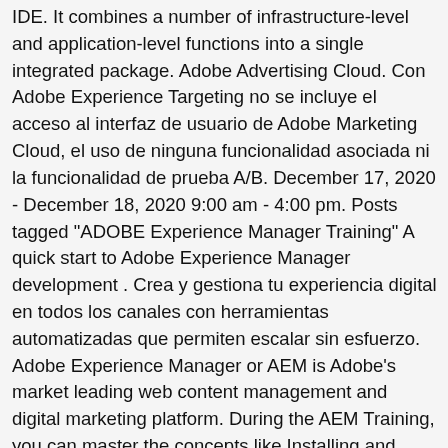IDE. It combines a number of infrastructure-level and application-level functions into a single integrated package. Adobe Advertising Cloud. Con Adobe Experience Targeting no se incluye el acceso al interfaz de usuario de Adobe Marketing Cloud, el uso de ninguna funcionalidad asociada ni la funcionalidad de prueba A/B. December 17, 2020 - December 18, 2020 9:00 am - 4:00 pm. Posts tagged "ADOBE Experience Manager Training" A quick start to Adobe Experience Manager development . Crea y gestiona tu experiencia digital en todos los canales con herramientas automatizadas que permiten escalar sin esfuerzo. Adobe Experience Manager or AEM is Adobe's market leading web content management and digital marketing platform. During the AEM Training, you can master the concepts like Installing and Utilising CRXDE, JCR and Jackrabbit, Development Models. Our Training program enables you to gain knowledge on Adobe Experience Manager Training. Adobe Target. Adobe Experience Manager is a developer training course with the help of which the developers can learn the fundamentals of how to